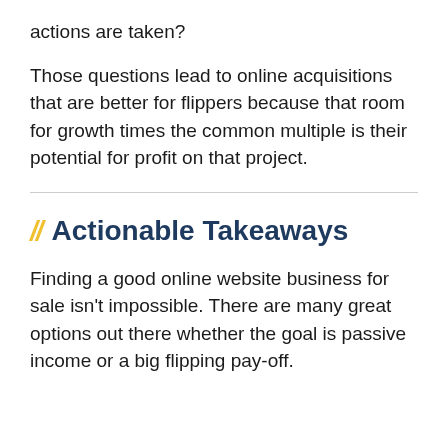actions are taken?
Those questions lead to online acquisitions that are better for flippers because that room for growth times the common multiple is their potential for profit on that project.
// Actionable Takeaways
Finding a good online website business for sale isn't impossible. There are many great options out there whether the goal is passive income or a big flipping pay-off.